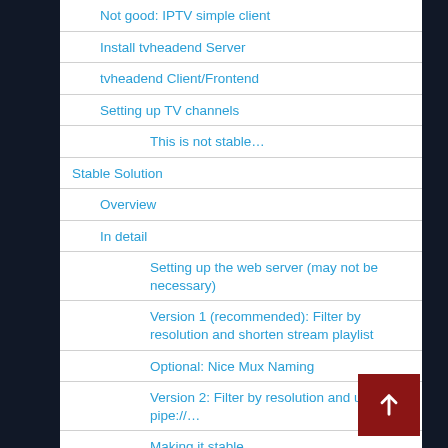Not good: IPTV simple client
Install tvheadend Server
tvheadend Client/Frontend
Setting up TV channels
This is not stable…
Stable Solution
Overview
In detail
Setting up the web server (may not be necessary)
Version 1 (recommended): Filter by resolution and shorten stream playlist
Optional: Nice Mux Naming
Version 2: Filter by resolution and use pipe://…
Making it stable
Some afterthoughts aka. Version 3…